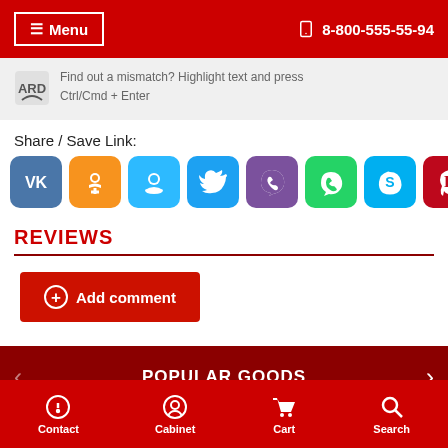☰ Menu   8-800-555-55-94
Find out a mismatch? Highlight text and press Ctrl/Cmd + Enter
Share / Save Link:
[Figure (other): Row of social media sharing icon buttons: VK (blue), Odnoklassniki (orange), Moi Mir (light blue), Twitter (blue), Viber (purple), WhatsApp (green), Skype (blue), Pinterest (dark red)]
REVIEWS
+ Add comment
POPULAR GOODS
Contact   Cabinet   Cart   Search